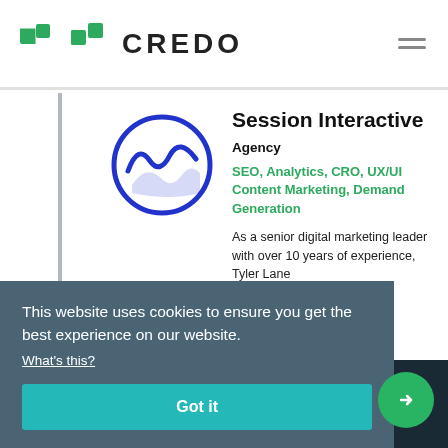CREDO
Session Interactive
Agency
SEO, Analytics, CRO, UX/UI Content Marketing, Demand Generation
As a senior digital marketing leader with over 10 years of experience, Tyler Lane and ...ated
This website uses cookies to ensure you get the best experience on our website.
What's this?
Got it